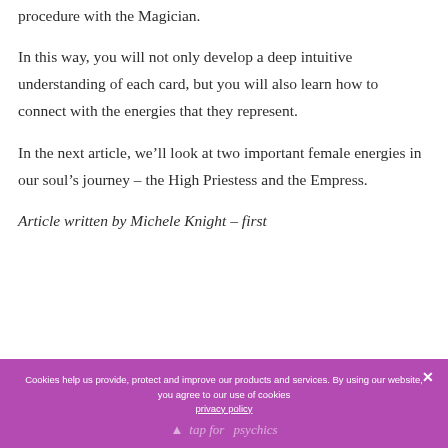procedure with the Magician.
In this way, you will not only develop a deep intuitive understanding of each card, but you will also learn how to connect with the energies that they represent.
In the next article, we’ll look at two important female energies in our soul’s journey – the High Priestess and the Empress.
Article written by Michele Knight – first published on Michele Knight psychics